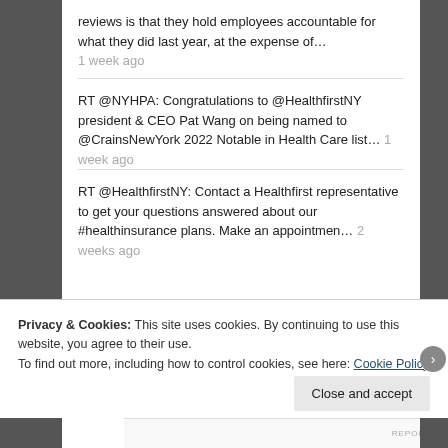reviews is that they hold employees accountable for what they did last year, at the expense of…
1 week ago
RT @NYHPA: Congratulations to @HealthfirstNY president & CEO Pat Wang on being named to @CrainsNewYork 2022 Notable in Health Care list… 1 week ago
RT @HealthfirstNY: Contact a Healthfirst representative to get your questions answered about our #healthinsurance plans. Make an appointmen… 2 weeks ago
Privacy & Cookies: This site uses cookies. By continuing to use this website, you agree to their use.
To find out more, including how to control cookies, see here: Cookie Policy
Close and accept
REPORT THIS AD